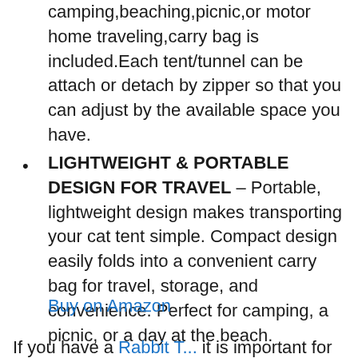camping,beaching,picnic,or motor home traveling,carry bag is included.Each tent/tunnel can be attach or detach by zipper so that you can adjust by the available space you have.
LIGHTWEIGHT & PORTABLE DESIGN FOR TRAVEL – Portable, lightweight design makes transporting your cat tent simple. Compact design easily folds into a convenient carry bag for travel, storage, and convenience. Perfect for camping, a picnic, or a day at the beach.
Buy on Amazon
If you have a Rabbit T... it is important for